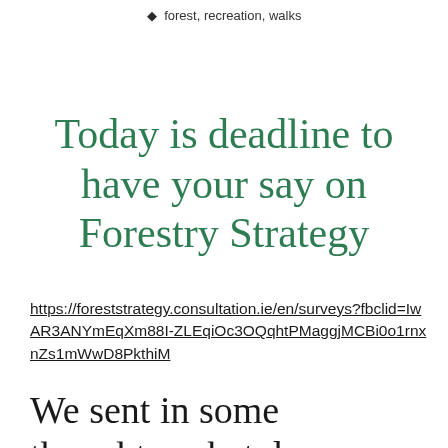forest, recreation, walks
Today is deadline to have your say on Forestry Strategy
https://foreststrategy.consultation.ie/en/surveys?fbclid=IwAR3ANYmEqXm88I-ZLEqiOc3OQqhtPMaggjMCBi0o1rnxnZs1mWwD8PkthiM
We sent in some thoughts, what do you